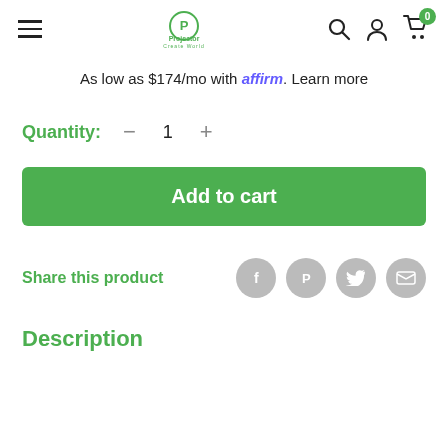Projector — header navigation with hamburger menu, logo, search, account, cart (0)
As low as $174/mo with affirm. Learn more
Quantity: — 1 +
Add to cart
Share this product
Description